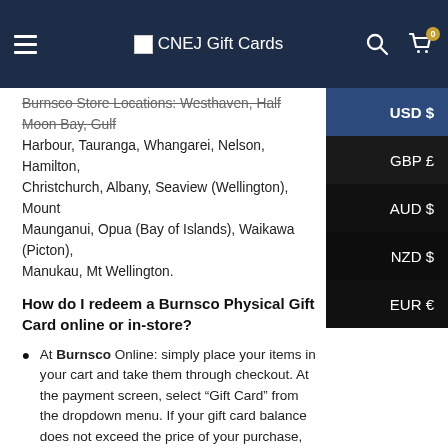CNEJ Gift Cards
Burnsco Store Locations: Westhaven, Half Moon Bay, Gulf Harbour, Tauranga, Whangarei, Nelson, Hamilton, Christchurch, Albany, Seaview (Wellington), Mount Maunganui, Opua (Bay of Islands), Waikawa (Picton), Manukau, Mt Wellington.
How do I redeem a Burnsco Physical Gift Card online or in-store?
At Burnsco Online: simply place your items in your cart and take them through checkout. At the payment screen, select “Gift Card” from the dropdown menu. If your gift card balance does not exceed the price of your purchase, you can pay the difference with another gift card, Visa/Mastercard or PayPal.
In-store at Burnsco: you must have your gift card with you to purchase at the cashier. Burnsco staff